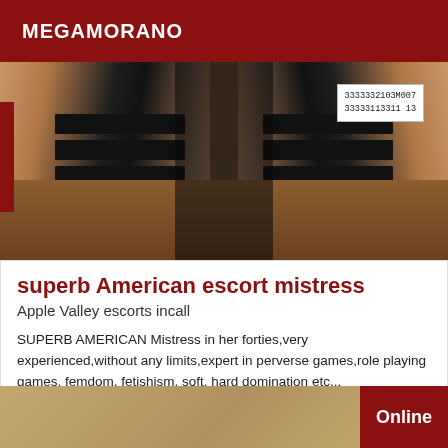MEGAMORANO
[Figure (photo): Photo showing legs in black and white striped stockings with a wooden floor background and a watermark/text overlay box in upper right]
superb American escort mistress
Apple Valley escorts incall
SUPERB AMERICAN Mistress in her forties,very experienced,without any limits,expert in perverse games,role playing games, femdom, fetishism, soft, hard domination etc...
[Figure (photo): Partial photo at bottom of page with an Online badge in dark red on the right side]